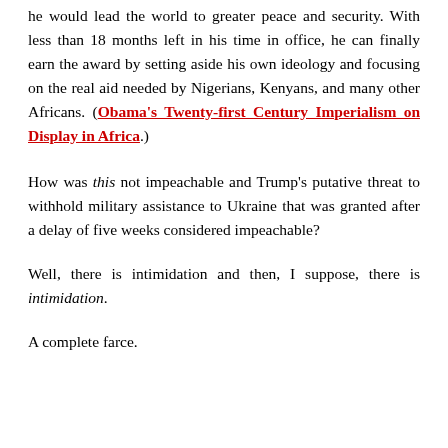he would lead the world to greater peace and security. With less than 18 months left in his time in office, he can finally earn the award by setting aside his own ideology and focusing on the real aid needed by Nigerians, Kenyans, and many other Africans. (Obama's Twenty-first Century Imperialism on Display in Africa.)
How was this not impeachable and Trump's putative threat to withhold military assistance to Ukraine that was granted after a delay of five weeks considered impeachable?
Well, there is intimidation and then, I suppose, there is intimidation.
A complete farce.